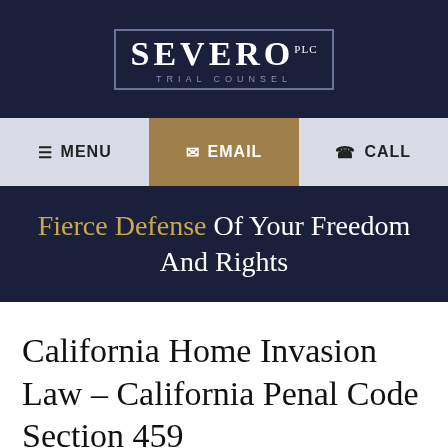[Figure (logo): SEVERO PLC Trial Counsel logo in white text on dark navy background with border]
MENU | EMAIL | CALL navigation bar
Fierce Defense Of Your Freedom And Rights
California Home Invasion Law – California Penal Code Section 459